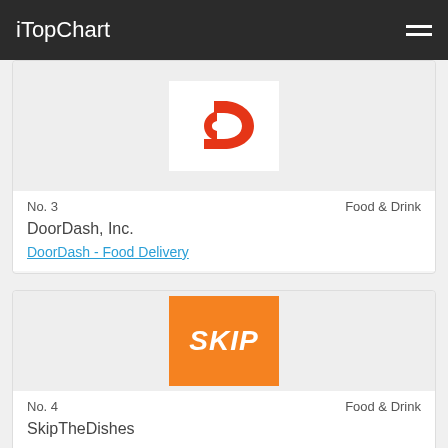iTopChart
[Figure (logo): DoorDash logo – white background with red DoorDash 'D' chevron symbol]
No. 3    Food & Drink
DoorDash, Inc.
DoorDash - Food Delivery
[Figure (logo): SkipTheDishes logo – orange square background with white bold italic text 'SKIP']
No. 4    Food & Drink
SkipTheDishes